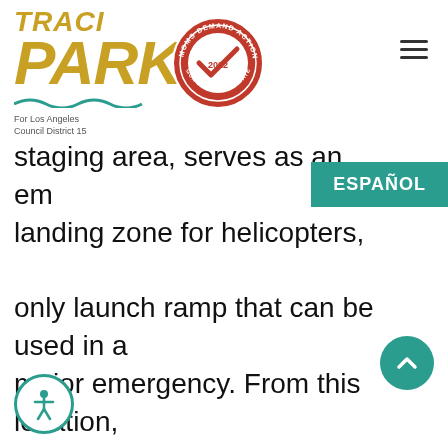Traci Park — For Los Angeles Council District 15
[Figure (logo): Traci Park campaign logo in gold/yellow italic text with wave graphic and subtitle 'For Los Angeles Council District 15']
[Figure (logo): Moms Demand Action Gun Sense Candidate 2022 circular seal in red and white]
staging area, serves as an emergency landing zone for helicopters, and the only launch ramp that can be used in a major emergency. From this location, visitors can stroll the harbor-front, go to the Marina Del Rey Visitor's Center, watch passing sailboats, enjoy the wildlife, hear live music, or walk to Burton Chase Park for a picnic. I remain highly concerned about the adverse impact the proposed tiny homes or "safe" camping project will have on the environment, the local businesses that